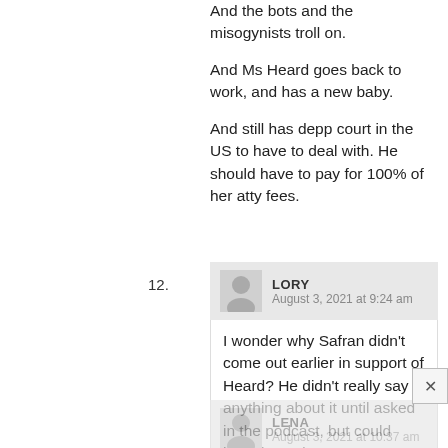And the bots and the misogynists troll on.

And Ms Heard goes back to work, and has a new baby.

And still has depp court in the US to have to deal with. He should have to pay for 100% of her atty fees.
12.
LORY
August 3, 2021 at 9:24 am
I wonder why Safran didn't come out earlier in support of Heard? He didn't really say anything about it until asked in the podcast, but could have issued a statement when Heard was being harassed.
LENA
August 3, 2021 at 10:37 am